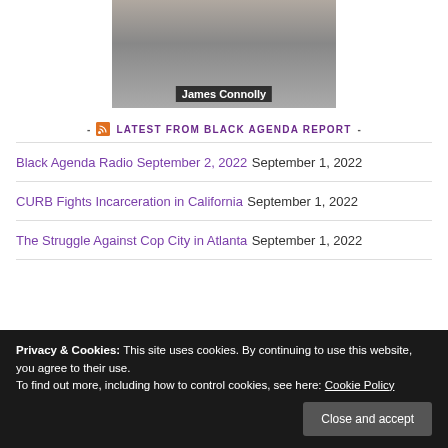[Figure (photo): Black and white photograph of James Connolly with a name label overlay]
- LATEST FROM BLACK AGENDA REPORT -
Black Agenda Radio September 2, 2022 September 1, 2022
CURB Fights Incarceration in California September 1, 2022
The Struggle Against Cop City in Atlanta September 1, 2022
Privacy & Cookies: This site uses cookies. By continuing to use this website, you agree to their use. To find out more, including how to control cookies, see here: Cookie Policy